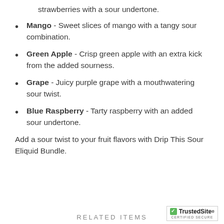strawberries with a sour undertone.
Mango - Sweet slices of mango with a tangy sour combination.
Green Apple - Crisp green apple with an extra kick from the added sourness.
Grape - Juicy purple grape with a mouthwatering sour twist.
Blue Raspberry - Tarty raspberry with an added sour undertone.
Add a sour twist to your fruit flavors with Drip This Sour Eliquid Bundle.
RELATED ITEMS